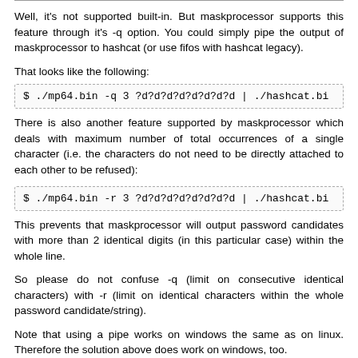Well, it's not supported built-in. But maskprocessor supports this feature through it's -q option. You could simply pipe the output of maskprocessor to hashcat (or use fifos with hashcat legacy).
That looks like the following:
[Figure (screenshot): Code box: $ ./mp64.bin -q 3 ?d?d?d?d?d?d?d?d | ./hashcat.bi]
There is also another feature supported by maskprocessor which deals with maximum number of total occurrences of a single character (i.e. the characters do not need to be directly attached to each other to be refused):
[Figure (screenshot): Code box: $ ./mp64.bin -r 3 ?d?d?d?d?d?d?d?d | ./hashcat.bi]
This prevents that maskprocessor will output password candidates with more than 2 identical digits (in this particular case) within the whole line.
So please do not confuse -q (limit on consecutive identical characters) with -r (limit on identical characters within the whole password candidate/string).
Note that using a pipe works on windows the same as on linux. Therefore the solution above does work on windows, too.
LM consists of two hashes but are split for